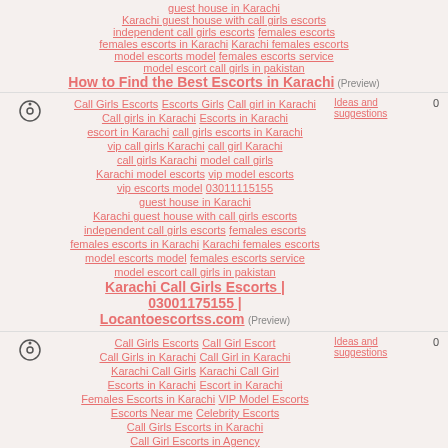guest house in Karachi Karachi guest house with call girls escorts independent call girls escorts females escorts females escorts in Karachi Karachi females escorts model escorts model females escorts service model escort call girls in pakistan
How to Find the Best Escorts in Karachi (Preview)
Call Girls Escorts Escorts Girls Call girl in Karachi Call girls in Karachi Escorts in Karachi escort in Karachi call girls escorts in Karachi vip call girls Karachi call girl Karachi call girls Karachi model call girls Karachi model escorts vip model escorts vip escorts model 03011115155 guest house in Karachi Karachi guest house with call girls escorts independent call girls escorts females escorts females escorts in Karachi Karachi females escorts model escorts model females escorts service model escort call girls in pakistan
Karachi Call Girls Escorts | 03001175155 | Locantoescortss.com (Preview)
Ideas and suggestions
0
Call Girls Escorts Call Girl Escort Call Girls in Karachi Call Girl in Karachi Karachi Call Girls Karachi Call Girl Escorts in Karachi Escort in Karachi Females Escorts in Karachi VIP Model Escorts Escorts Near me Celebrity Escorts Call Girls Escorts in Karachi Call Girl Escorts in Agency Escorts Agency in Karachi Model Call Girls in Karachi Model Call Girl in Karachi housewife escorts in Karachi females vip escorts in Karachi
Ideas and suggestions
0